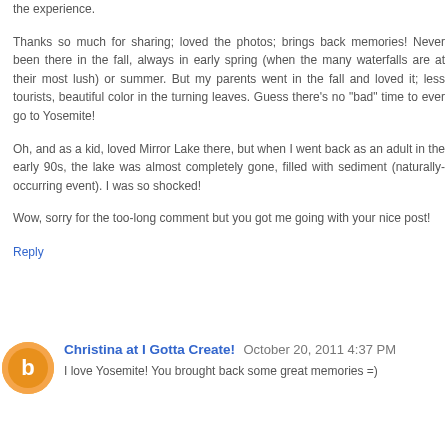the experience.
Thanks so much for sharing; loved the photos; brings back memories! Never been there in the fall, always in early spring (when the many waterfalls are at their most lush) or summer. But my parents went in the fall and loved it; less tourists, beautiful color in the turning leaves. Guess there's no "bad" time to ever go to Yosemite!
Oh, and as a kid, loved Mirror Lake there, but when I went back as an adult in the early 90s, the lake was almost completely gone, filled with sediment (naturally-occurring event). I was so shocked!
Wow, sorry for the too-long comment but you got me going with your nice post!
Reply
Christina at I Gotta Create!  October 20, 2011 4:37 PM
I love Yosemite! You brought back some great memories =)